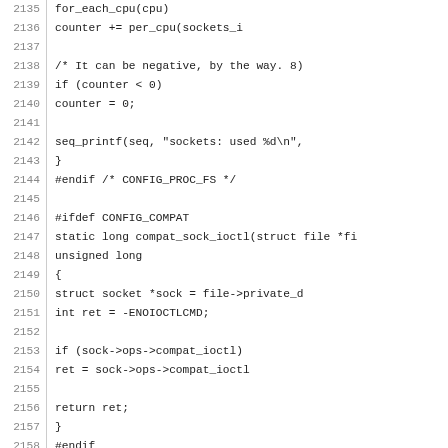Source code listing, lines 2135-2165, C kernel socket code including per_cpu, seq_printf, CONFIG_COMPAT, compat_sock_ioctl, EXPORT_SYMBOL macros